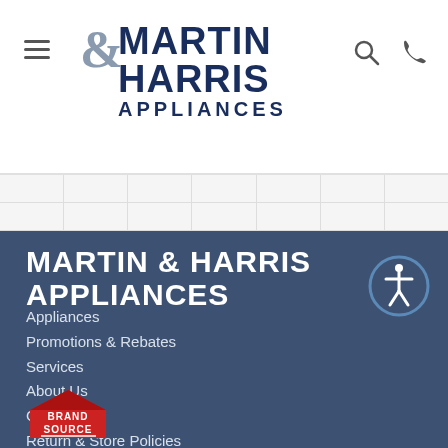[Figure (logo): Martin & Harris Appliances logo with hamburger menu, search icon, and phone icon in white header]
[Figure (other): Navigation strip with two rows of empty category cells]
MARTIN & HARRIS APPLIANCES
Appliances
Promotions & Rebates
Services
About Us
Contact Us
Return & Store Policies
[Figure (logo): BrandSource logo - red house with BRAND SOURCE text]